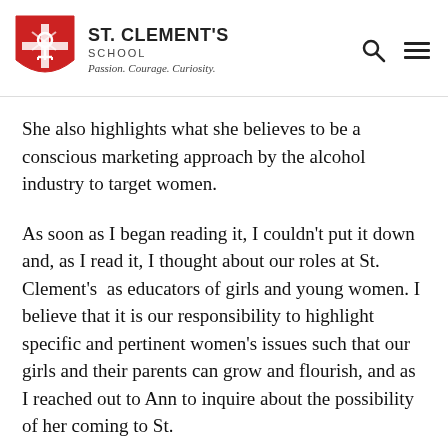ST. CLEMENT'S SCHOOL Passion. Courage. Curiosity.
She also highlights what she believes to be a conscious marketing approach by the alcohol industry to target women.
As soon as I began reading it, I couldn't put it down and, as I read it, I thought about our roles at St. Clement's as educators of girls and young women. I believe that it is our responsibility to highlight specific and pertinent women's issues such that our girls and their parents can grow and flourish, and as I reached out to Ann to inquire about the possibility of her coming to St.